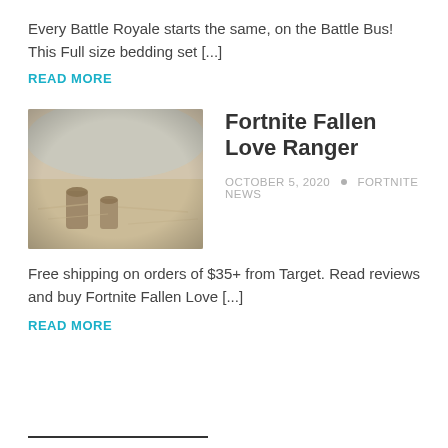Every Battle Royale starts the same, on the Battle Bus! This Full size bedding set [...]
READ MORE
[Figure (photo): Blurred outdoor scene with tree stumps and dry grass/hay in muted beige tones]
Fortnite Fallen Love Ranger
OCTOBER 5, 2020 • FORTNITE NEWS
Free shipping on orders of $35+ from Target. Read reviews and buy Fortnite Fallen Love [...]
READ MORE